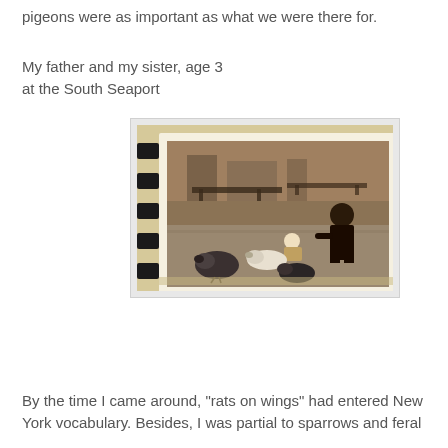pigeons were as important as what we were there for.
My father and my sister, age 3
at the South Seaport
[Figure (photo): Vintage sepia photograph mounted in a spiral-bound album, showing a toddler sitting on the ground at the South Seaport surrounded by pigeons, with a man (the father) seated on a bench nearby. Park benches and waterfront structures visible in background.]
By the time I came around, "rats on wings" had entered New York vocabulary. Besides, I was partial to sparrows and feral